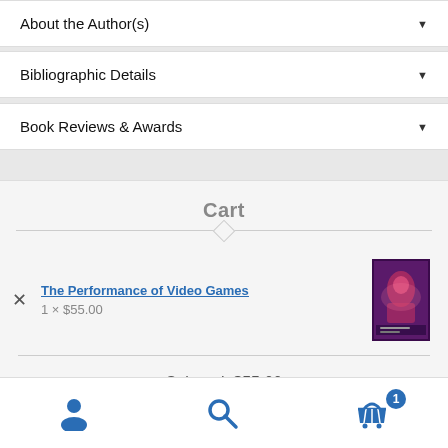About the Author(s) ▼
Bibliographic Details ▼
Book Reviews & Awards ▼
Cart
The Performance of Video Games — 1 × $55.00
Subtotal: $55.00